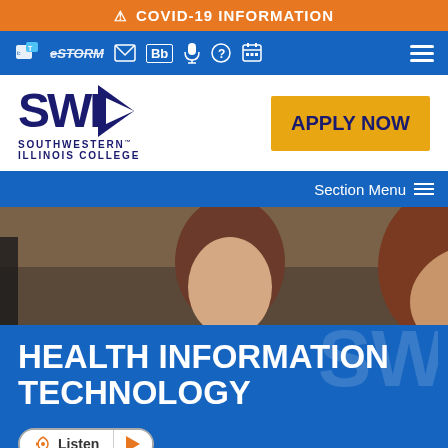⚠ COVID-19 INFORMATION
[Figure (screenshot): Navigation bar with icons: Teams, eSTORM, Email, Blackboard, microphone, help, calendar, and hamburger menu on blue background]
[Figure (logo): SWIC Southwestern Illinois College logo with blue letters and text, alongside yellow APPLY NOW button]
Section Menu ≡
[Figure (photo): Two students or staff members looking at a computer screen in a classroom or lab setting]
HEALTH INFORMATION TECHNOLOGY
Listen